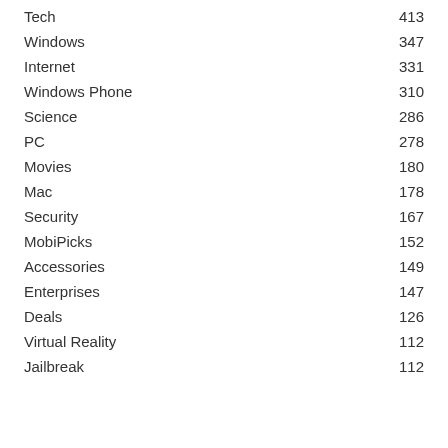Tech 413
Windows 347
Internet 331
Windows Phone 310
Science 286
PC 278
Movies 180
Mac 178
Security 167
MobiPicks 152
Accessories 149
Enterprises 147
Deals 126
Virtual Reality 112
Jailbreak 112